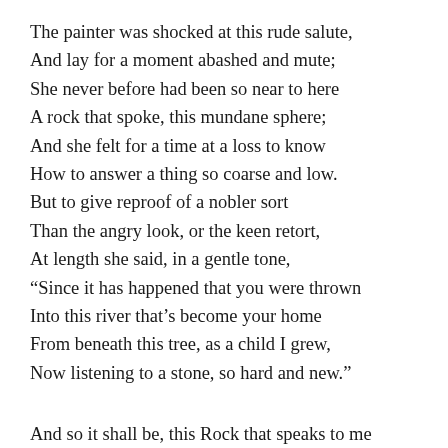The painter was shocked at this rude salute,
And lay for a moment abashed and mute;
She never before had been so near to here
A rock that spoke, this mundane sphere;
And she felt for a time at a loss to know
How to answer a thing so coarse and low.
But to give reproof of a nobler sort
Than the angry look, or the keen retort,
At length she said, in a gentle tone,
“Since it has happened that you were thrown
Into this river that’s become your home
From beneath this tree, as a child I grew,
Now listening to a stone, so hard and new.”

And so it shall be, this Rock that speaks to me